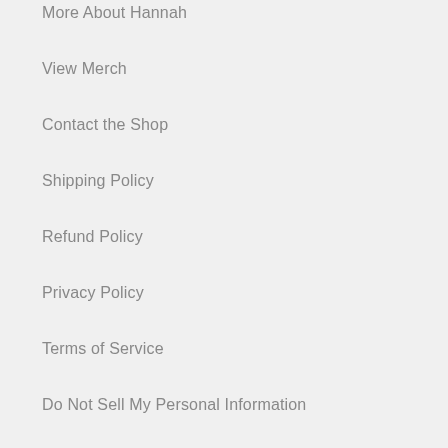More About Hannah
View Merch
Contact the Shop
Shipping Policy
Refund Policy
Privacy Policy
Terms of Service
Do Not Sell My Personal Information